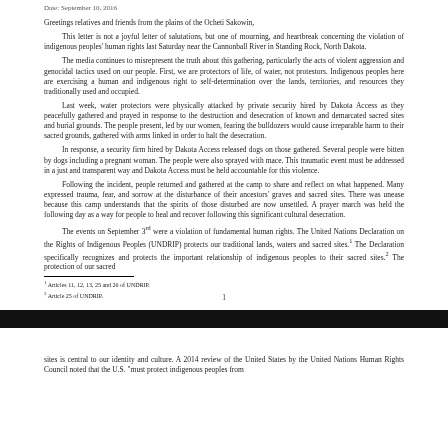Date: September 10, 2016
Greetings relatives and friends from the plains of the Ocheti Sakowin,
This letter is not a joyful letter of salutations, but one of mourning, and heartbreak concerning the violation of indigenous peoples' human rights last Saturday near the Cannonball River in Standing Rock, North Dakota.
The media continues to misrepresent the truth about this gathering, particularly the acts of violent aggression and genocidal tactics used on our people. First, we are protectors of life, of water, not protestors. Indigenous peoples here are exercising a human and indigenous right to self-determination over the lands, territories, and resources they traditionally used and occupied.
Last week, water protectors were physically attacked by private security hired by Dakota Access as they peacefully gathered and prayed in response to the destruction and desecration of known and demarcated sacred sites and burial grounds. The people present, led by our women, fearing the bulldozers would cause irreparable harm to their sacred grounds, gathered with arms linked in order to halt the desecration.
In response, a security firm hired by Dakota Access released dogs on those gathered. Several people were bitten by dogs including a pregnant woman. The people were also sprayed with mace. This traumatic event must be addressed in a just and transparent way and Dakota Access must be held accountable for this violence.
Following the incident, people returned and gathered at the camp to share and reflect on what happened. Many expressed trauma, fear, and sorrow at the disturbance of their ancestors' graves and sacred sites. There was unease because this camp understands that the spirits of those disturbed are now unsettled. A prayer march was held the following day as a way for people to heal and recover following this significant cultural desecration.
The events on September 3rd were a violation of fundamental human rights. The United Nations Declaration on the Rights of Indigenous Peoples (UNDRIP) protects our traditional lands, waters and sacred sites.1 The Declaration specifically recognizes and protects the important relationship of indigenous peoples to their sacred sites.2 The protection of our sacred
1 Articles 11, 12, 13, 25 and 26 of UNDRIP.
2 Article 25 of UNDRIP.
1
sites is central to our identity and culture. A 2014 review of the United States by the United Nations Human Rights Council noted that the U.S. "must protect indigenous peoples from